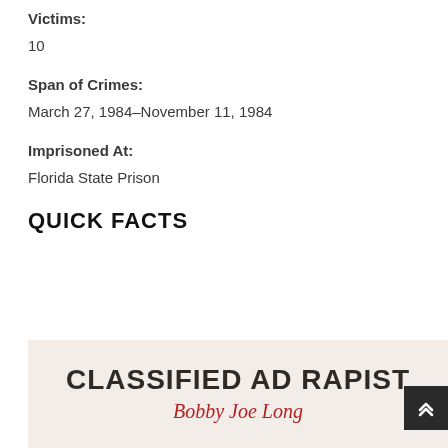Victims:
10
Span of Crimes:
March 27, 1984–November 11, 1984
Imprisoned At:
Florida State Prison
QUICK FACTS
[Figure (illustration): Book cover image with title 'CLASSIFIED AD RAPIST' in bold dark text and subtitle in red cursive script 'Bobby Joe Long' on a beige background]